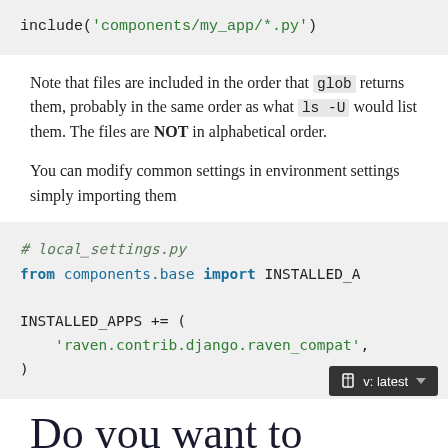[Figure (screenshot): Code block showing: include('components/my_app/*.py')]
Note that files are included in the order that glob returns them, probably in the same order as what ls -U would list them. The files are NOT in alphabetical order.
You can modify common settings in environment settings simply importing them
[Figure (screenshot): Code block showing: # local_settings.py
from components.base import INSTALLED_A

INSTALLED_APPS += (
    'raven.contrib.django.raven_compat',
)]
Do you want to contribute?